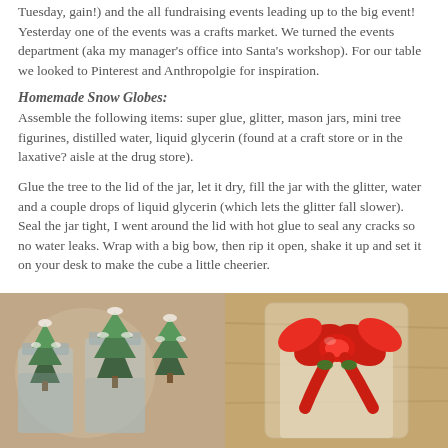Tuesday, gain!) and the all fundraising events leading up to the big event!  Yesterday one of the events was a crafts market. We turned the events department (aka my manager's office into Santa's workshop).  For our table we looked to Pinterest and Anthropolgie for inspiration.
Homemade Snow Globes:
Assemble the following items: super glue, glitter, mason jars, mini tree figurines, distilled water, liquid glycerin (found at a craft store or in the laxative? aisle at the drug store).
Glue the tree to the lid of the jar, let it dry, fill the jar with the glitter, water and a couple drops of liquid glycerin (which lets the glitter fall slower). Seal the jar tight, I went around the lid with hot glue to seal any cracks so no water leaks. Wrap with a big bow, then rip it open, shake it up and set it on your desk to make the cube a little cheerier.
[Figure (photo): Two photos side by side: left shows mini snow-covered bottle brush trees in mason jars; right shows a gift wrapped with a large red bow in a clear bag.]